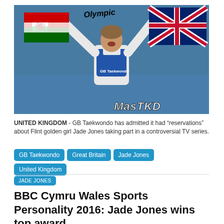[Figure (photo): A female taekwondo athlete celebrating with arms raised, holding a Welsh flag and a Union Jack flag. She is wearing a blue GB taekwondo uniform. The text 'MasTKD' appears in the bottom right of the image. The word 'Olympic' is visible on a banner in the background.]
UNITED KINGDOM - GB Taekwondo has admitted it had “reservations” about Flint golden girl Jade Jones taking part in a controversial TV series.
GB Taekwondo
Great Britain
Jade Jones
United Kingdom
JADE JONES
BBC Cymru Wales Sports Personality 2016: Jade Jones wins top award